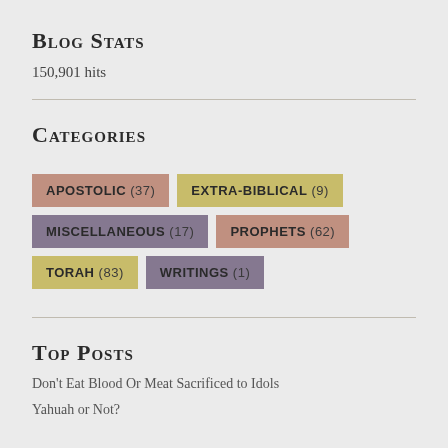Blog Stats
150,901 hits
Categories
APOSTOLIC (37)
EXTRA-BIBLICAL (9)
MISCELLANEOUS (17)
PROPHETS (62)
TORAH (83)
WRITINGS (1)
Top Posts
Don't Eat Blood Or Meat Sacrificed to Idols
Yahuah or Not?